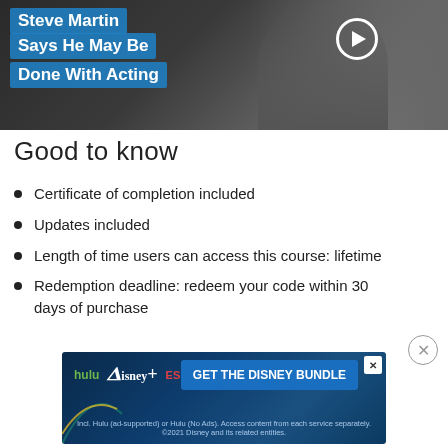[Figure (screenshot): Video thumbnail showing 'Steve Martin Says He May Be Done With Acting' with a play button overlay on a dark background]
Good to know
Certificate of completion included
Updates included
Length of time users can access this course: lifetime
Redemption deadline: redeem your code within 30 days of purchase
[Figure (screenshot): Advertisement banner for Disney Bundle featuring Hulu, Disney+, and ESPN+ logos with 'GET THE DISNEY BUNDLE' call-to-action button]